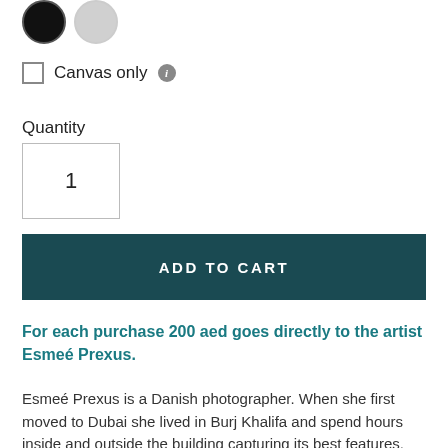[Figure (illustration): Two color option circles: one black and one light gray, shown at the top of the page as color selectors]
Canvas only ℹ
Quantity
1
ADD TO CART
For each purchase 200 aed goes directly to the artist Esmeé Prexus.
Esmeé Prexus is a Danish photographer. When she first moved to Dubai she lived in Burj Khalifa and spend hours inside and outside the building capturing its best features.